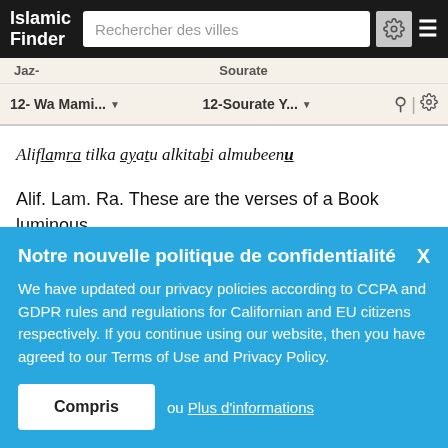Islamic Finder
Jaz-  Sourate
12- Wa Mami...  12-Sourate Y...
Aliflamra tilka ayatu alkitabi almubeenu
Alif. Lam. Ra. These are the verses of a Book luminous
Notre nouvelle politique de confidentialité
We have updated our privacy policies according to CCPA and GDPR rules and regulations for Californian and EU citizens respectively. If you continue using our website, then you have agreed to our Terms of Use and Privacy Policy.
Compris ou Plus d'informations